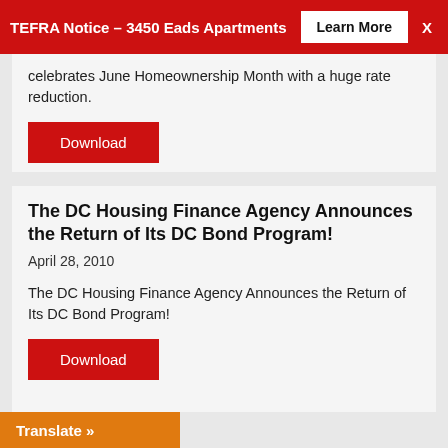TEFRA Notice - 3450 Eads Apartments   Learn More   X
celebrates June Homeownership Month with a huge rate reduction.
Download
The DC Housing Finance Agency Announces the Return of Its DC Bond Program!
April 28, 2010
The DC Housing Finance Agency Announces the Return of Its DC Bond Program!
Download
Translate »